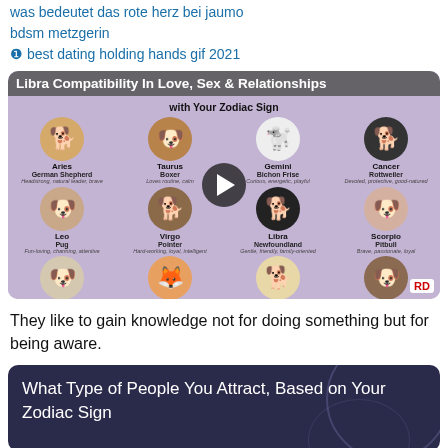was bedeutet das rote herz bei jaumo
bdsm metzgerin
❶ best dating holding hands gif 2021
[Figure (illustration): Infographic thumbnail showing zodiac signs matched to dog breeds. Title overlay: 'Libra Compatibility In Love, Sex & Relationships' with subtitle 'with Your Zodiac Sign'. Grid of 12 dog face illustrations: Aries-German Shepherd, Taurus-Boxer, Gemini-Bichon Frise, Cancer-Rottweiler, Leo-Pug, Virgo-Pointer, Libra-Newfoundland, Scorpio-Pitbull, Sagittarius-Russell Terrier, Capricorn-Shiba Inu, Aquarius-Labrador Retriever, Pisces-St. Bernard. Play button overlay in center. RD badge bottom right.]
They like to gain knowledge not for doing something but for being aware.
What Type of People You Attract, Based on Your Zodiac Sign